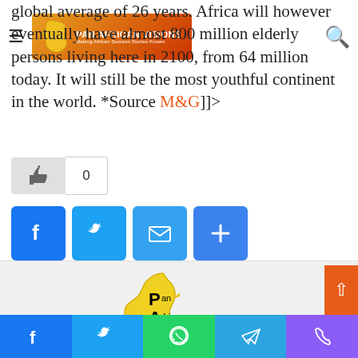Pan African Visions — navigation bar with hamburger menu, logo, and search icon
global average of 26 years. Africa will however eventually have almost 800 million elderly persons living here in 2100, from 64 million today. It will still be the most youthful continent in the world. *Source M&G]]>
[Figure (other): Like button with thumbs-up icon and count of 0]
[Figure (other): Social share buttons: Facebook, Twitter, Email, Share (plus icon)]
[Figure (logo): Pan African Visions logo — yellow Africa continent shape with PAV text]
[Figure (other): Bottom social sharing bar with Facebook, Twitter, WhatsApp, Telegram, Phone icons]